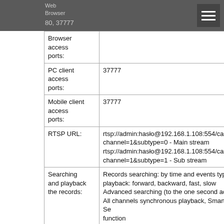Web Browser access ports: 80, 37777
| Browser access ports: |  |
| PC client access ports: | 37777 |
| Mobile client access ports: | 37777 |
| RTSP URL: | rtsp://admin:hasło@192.168.1.108:554/cam/realmonitor?channel=1&subtype=0 - Main stream
rtsp://admin:hasło@192.168.1.108:554/cam/realmonitor?channel=1&subtype=1 - Sub stream |
| Searching and playback the records: | Records searching: by time and events type. playback: forward, backward, fast, slow Advanced searching (to the one second accu All channels synchronous playback, Smart Se function |
| Bitrate: | max. 80 Mb/s |
|  |  |